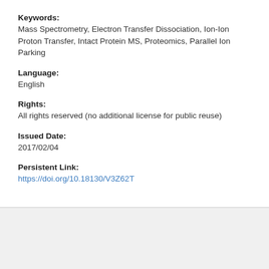Keywords: Mass Spectrometry, Electron Transfer Dissociation, Ion-Ion Proton Transfer, Intact Protein MS, Proteomics, Parallel Ion Parking
Language: English
Rights: All rights reserved (no additional license for public reuse)
Issued Date: 2017/02/04
Persistent Link: https://doi.org/10.18130/V3Z62T